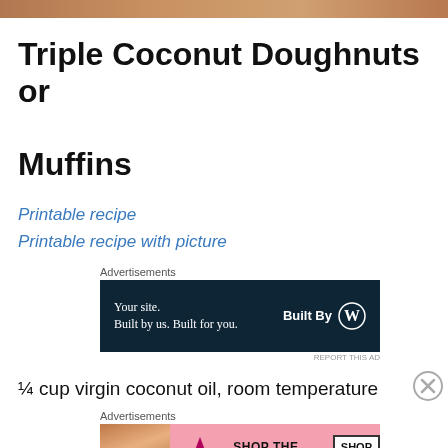[Figure (photo): Top strip image, partial view of a food photo]
Triple Coconut Doughnuts or Muffins
Printable recipe
Printable recipe with picture
[Figure (other): Advertisement: Your site. Built by us. Built for you. Built By WordPress logo]
¼ cup virgin coconut oil, room temperature
[Figure (other): Advertisement: Victoria's Secret - Shop The Collection - Shop Now]